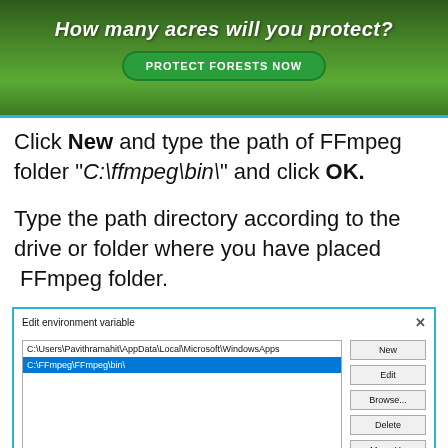[Figure (screenshot): Green forest protection advertisement banner with text 'How many acres will you protect?' and a 'PROTECT FORESTS NOW' button]
Click New and type the path of FFmpeg folder “C:\ffmpeg\bin\” and click OK.
Type the path directory according to the drive or folder where you have placed  FFmpeg folder.
[Figure (screenshot): Windows 'Edit environment variable' dialog showing two entries: C:\Users\Pavithramahit\AppData\Local\Microsoft\WindowsApps and C:\FFmpeg\FFmpeg\bin\ (selected in blue), with buttons New, Edit, Browse..., Delete, Move Up, Move Down]